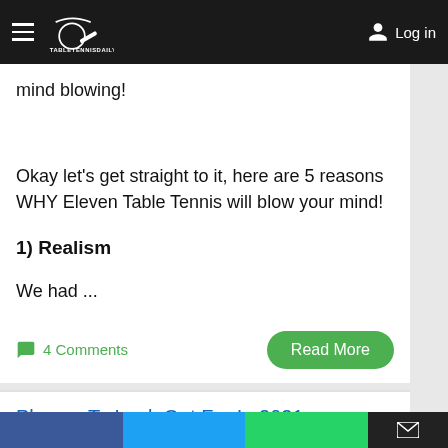TableTennisDaily — Log in
mind blowing!
Okay let's get straight to it, here are 5 reasons WHY Eleven Table Tennis will blow your mind!
1) Realism
We had ...
4 Comments
Read More
Players To Look Out For In 2021